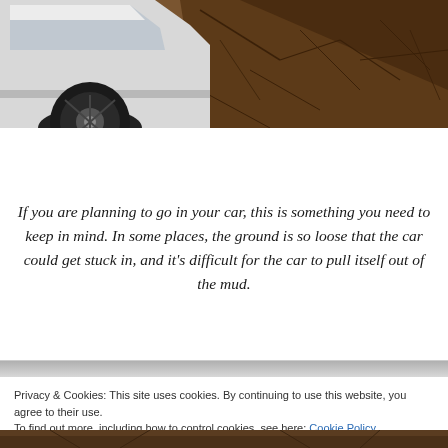[Figure (photo): A white car parked on cracked, dry earth/mud ground viewed from the side, showing the wheel and lower body against dry cracked terrain.]
If you are planning to go in your car, this is something you need to keep in mind. In some places, the ground is so loose that the car could get stuck in, and it's difficult for the car to pull itself out of the mud.
Privacy & Cookies: This site uses cookies. By continuing to use this website, you agree to their use.
To find out more, including how to control cookies, see here: Cookie Policy
[Figure (photo): Bottom strip of a photo showing dark cracked earth/ground texture.]